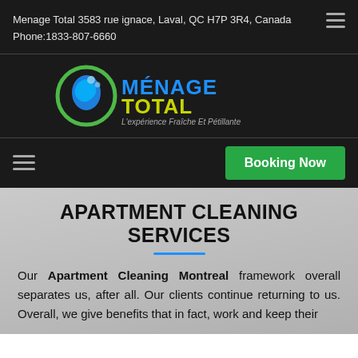Menage Total 3583 rue ignace, Laval, QC H7P 3R4, Canada
Phone:1833-807-6660
[Figure (logo): Menage Total logo with blue/green swirl icon and text 'MENAGETOTAL L'expérience Fraîche Et Pétillante']
APARTMENT CLEANING SERVICES
Our Apartment Cleaning Montreal framework overall separates us, after all. Our clients continue returning to us. Overall, we give benefits that in fact, work and keep their